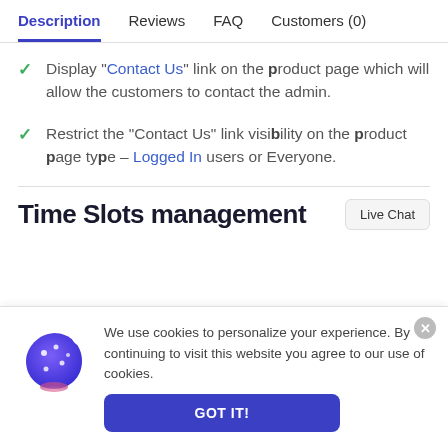Description | Reviews | FAQ | Customers (0)
Display "Contact Us" link on the product page which will allow the customers to contact the admin.
Restrict the "Contact Us" link visibility on the product page type – Logged In users or Everyone.
Time Slots management
We use cookies to personalize your experience. By continuing to visit this website you agree to our use of cookies.